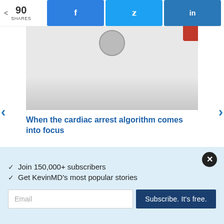90 SHARES  [Facebook] [Twitter] [LinkedIn]
[Figure (photo): Partial image of a medical stethoscope on a white background with a red accent in the top right corner]
When the cardiac arrest algorithm comes into focus
LARRY ATLAS, NP | CONDITIONS
[Figure (photo): Two people visible in what appears to be an office or clinical setting]
✓  Join 150,000+ subscribers
✓  Get KevinMD's most popular stories
Email  Subscribe. It's free.